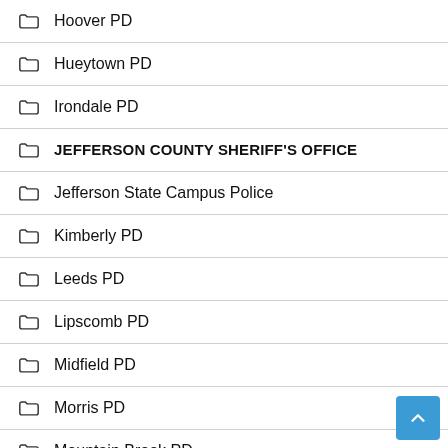Hoover PD
Hueytown PD
Irondale PD
JEFFERSON COUNTY SHERIFF'S OFFICE
Jefferson State Campus Police
Kimberly PD
Leeds PD
Lipscomb PD
Midfield PD
Morris PD
Mountain Brook PD